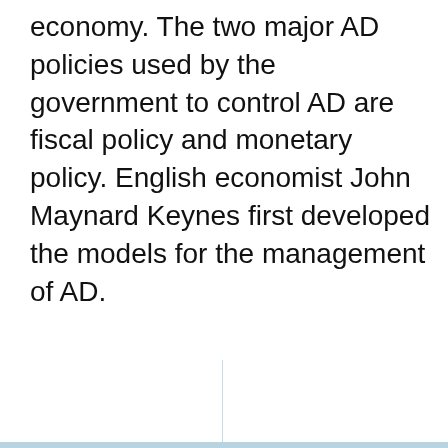economy. The two major AD policies used by the government to control AD are fiscal policy and monetary policy. English economist John Maynard Keynes first developed the models for the management of AD.